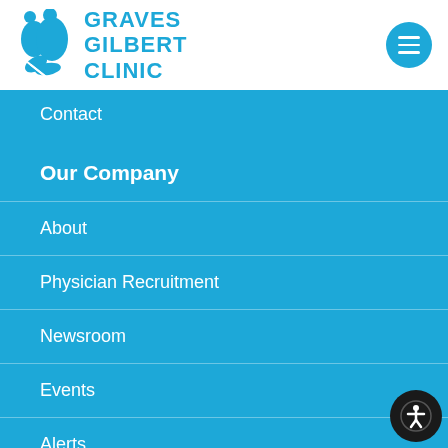[Figure (logo): Graves Gilbert Clinic logo with blue figures and leaf/heart shapes]
Contact
Our Company
About
Physician Recruitment
Newsroom
Events
Alerts